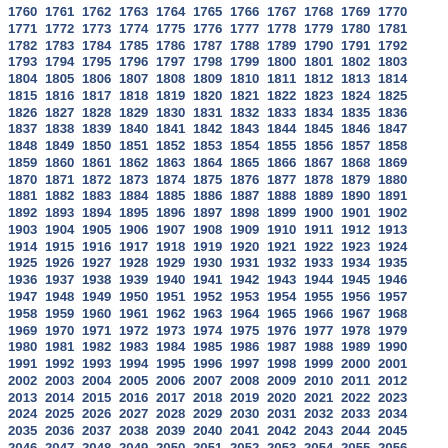1760 1761 1762 1763 1764 1765 1766 1767 1768 1769 1770 1771 1772 1773 1774 1775 1776 1777 1778 1779 1780 1781 1782 1783 1784 1785 1786 1787 1788 1789 1790 1791 1792 1793 1794 1795 1796 1797 1798 1799 1800 1801 1802 1803 1804 1805 1806 1807 1808 1809 1810 1811 1812 1813 1814 1815 1816 1817 1818 1819 1820 1821 1822 1823 1824 1825 1826 1827 1828 1829 1830 1831 1832 1833 1834 1835 1836 1837 1838 1839 1840 1841 1842 1843 1844 1845 1846 1847 1848 1849 1850 1851 1852 1853 1854 1855 1856 1857 1858 1859 1860 1861 1862 1863 1864 1865 1866 1867 1868 1869 1870 1871 1872 1873 1874 1875 1876 1877 1878 1879 1880 1881 1882 1883 1884 1885 1886 1887 1888 1889 1890 1891 1892 1893 1894 1895 1896 1897 1898 1899 1900 1901 1902 1903 1904 1905 1906 1907 1908 1909 1910 1911 1912 1913 1914 1915 1916 1917 1918 1919 1920 1921 1922 1923 1924 1925 1926 1927 1928 1929 1930 1931 1932 1933 1934 1935 1936 1937 1938 1939 1940 1941 1942 1943 1944 1945 1946 1947 1948 1949 1950 1951 1952 1953 1954 1955 1956 1957 1958 1959 1960 1961 1962 1963 1964 1965 1966 1967 1968 1969 1970 1971 1972 1973 1974 1975 1976 1977 1978 1979 1980 1981 1982 1983 1984 1985 1986 1987 1988 1989 1990 1991 1992 1993 1994 1995 1996 1997 1998 1999 2000 2001 2002 2003 2004 2005 2006 2007 2008 2009 2010 2011 2012 2013 2014 2015 2016 2017 2018 2019 2020 2021 2022 2023 2024 2025 2026 2027 2028 2029 2030 2031 2032 2033 2034 2035 2036 2037 2038 2039 2040 2041 2042 2043 2044 2045 2046 2047 2048 2049 2050 2051 2052 2053 2054 2055 2056 2057 2058 2059 2060 2061 2062 2063 2064 2065 2066 2067 2068 2069 2070 2071 2072 2073 2074 2075 2076 2077 2078 2079 2080 2081 2082 2083 2084 2085 2086 2087 2088 2089 2090 2091 2092 2093 2094 2095 2096 2097 2098 2099 2100 2101 2102 2103 2104 2105 2106 2107 2108 2109 2110 2111 2112 2113 2114 2115 2116 2117 2118 2119 2120 2121 2122 2123